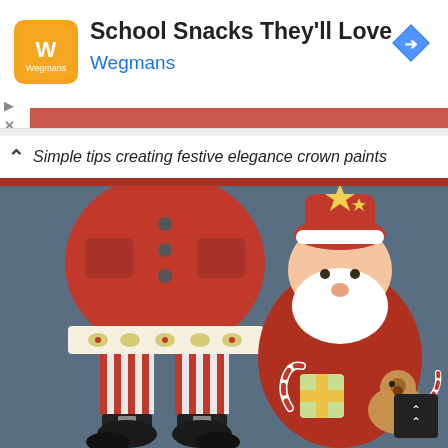[Figure (screenshot): Advertisement banner for Wegmans showing logo, title 'School Snacks They'll Love', and a blue navigation arrow icon]
Simple tips creating festive elegance crown paints
[Figure (illustration): Festive Christmas illustration on dark blue-grey background showing two cartoon Santa Claus figures — one showing just striped red-and-white legs with black boots, and one full cute Santa holding gifts, candy canes and a reindeer figure]